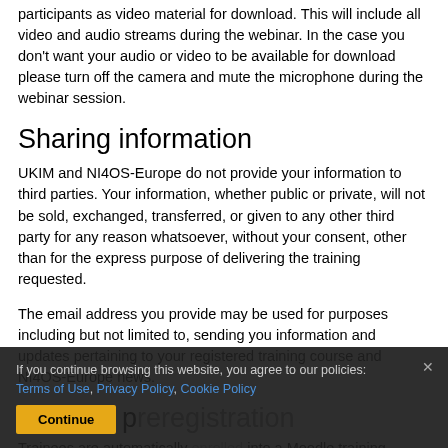participants as video material for download. This will include all video and audio streams during the webinar. In the case you don't want your audio or video to be available for download please turn off the camera and mute the microphone during the webinar session.
Sharing information
UKIM and NI4OS-Europe do not provide your information to third parties. Your information, whether public or private, will not be sold, exchanged, transferred, or given to any other third party for any reason whatsoever, without your consent, other than for the express purpose of delivering the training requested.
The email address you provide may be used for purposes including but not limited to, sending you information and updates pertaining to your registered training course and NI4OS-Europe news.
Training p...
Trainees are automatically enrolled into a Moodle training
If you continue browsing this website, you agree to our policies: Terms of Use, Privacy Policy, Cookie Policy